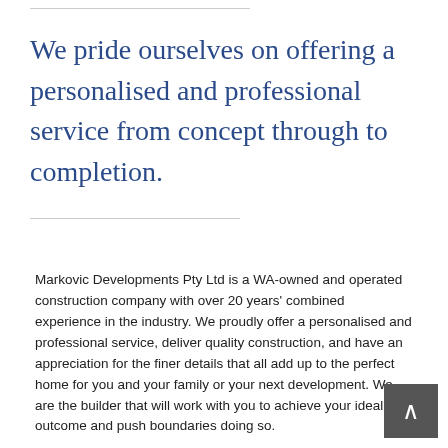We pride ourselves on offering a personalised and professional service from concept through to completion.
Markovic Developments Pty Ltd is a WA-owned and operated construction company with over 20 years' combined experience in the industry. We proudly offer a personalised and professional service, deliver quality construction, and have an appreciation for the finer details that all add up to the perfect home for you and your family or your next development. We are the builder that will work with you to achieve your ideal outcome and push boundaries doing so.